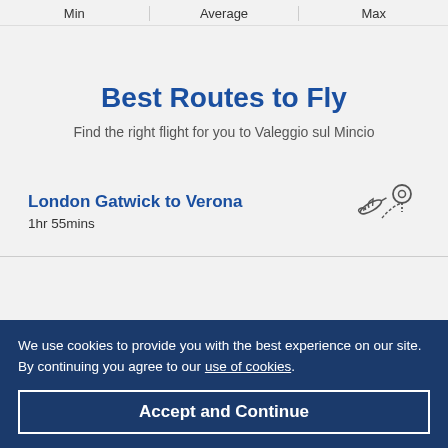| Min | Average | Max |
| --- | --- | --- |
Best Routes to Fly
Find the right flight for you to Valeggio sul Mincio
London Gatwick to Verona
1hr 55mins
[Figure (illustration): Airplane flying toward a map pin location icon]
We use cookies to provide you with the best experience on our site. By continuing you agree to our use of cookies.
Accept and Continue